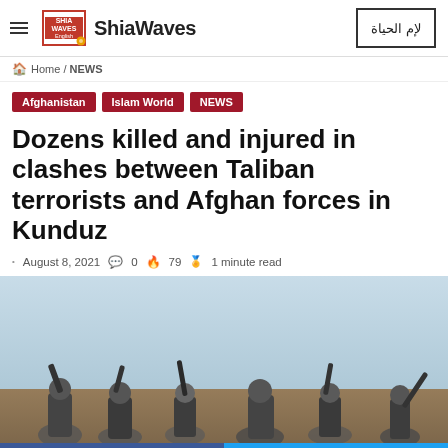ShiaWaves
Home / NEWS
Afghanistan
Islam World
NEWS
Dozens killed and injured in clashes between Taliban terrorists and Afghan forces in Kunduz
August 8, 2021  0  79  1 minute read
[Figure (photo): Armed fighters raising weapons in an outdoor setting, sky visible in background — partial view of crowd silhouettes.]